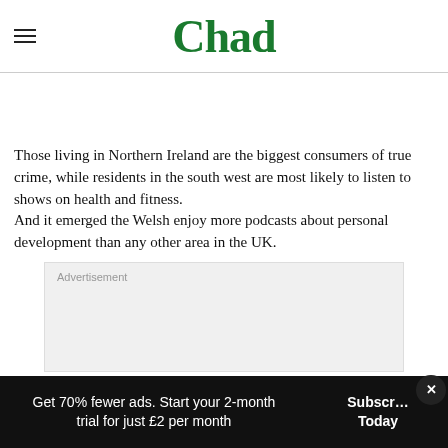Chad
Those living in Northern Ireland are the biggest consumers of true crime, while residents in the south west are most likely to listen to shows on health and fitness.
And it emerged the Welsh enjoy more podcasts about personal development than any other area in the UK.
[Figure (other): Advertisement placeholder box with grey background]
Get 70% fewer ads. Start your 2-month trial for just £2 per month | Subscribe Today